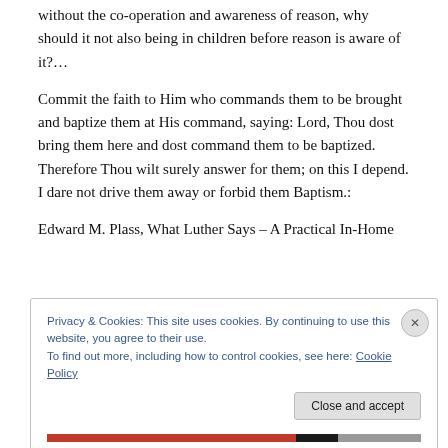without the co-operation and awareness of reason, why should it not also being in children before reason is aware of it?…
Commit the faith to Him who commands them to be brought and baptize them at His command, saying: Lord, Thou dost bring them here and dost command them to be baptized. Therefore Thou wilt surely answer for them; on this I depend. I dare not drive them away or forbid them Baptism.:
Edward M. Plass, What Luther Says – A Practical In-Home
Privacy & Cookies: This site uses cookies. By continuing to use this website, you agree to their use.
To find out more, including how to control cookies, see here: Cookie Policy
Close and accept